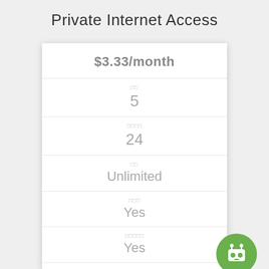Private Internet Access
| Feature | Value |
| --- | --- |
| $3.33/month |  |
| □□ | 5 |
| □□□□ | 24 |
| □□ | Unlimited |
| □□□ | Yes |
| □□□□□ | Yes |
| □□□□ |  |
[Figure (logo): Green circular robot/bot icon with antenna, positioned at bottom right of card]